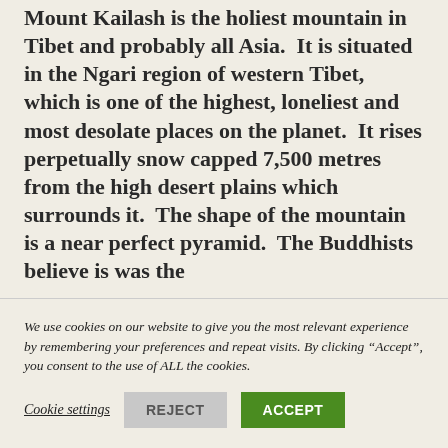Mount Kailash is the holiest mountain in Tibet and probably all Asia.  It is situated in the Ngari region of western Tibet, which is one of the highest, loneliest and most desolate places on the planet.  It rises perpetually snow capped 7,500 metres from the high desert plains which surrounds it.  The shape of the mountain is a near perfect pyramid.  The Buddhists believe is was the
We use cookies on our website to give you the most relevant experience by remembering your preferences and repeat visits. By clicking “Accept”, you consent to the use of ALL the cookies.
Cookie settings
REJECT
ACCEPT